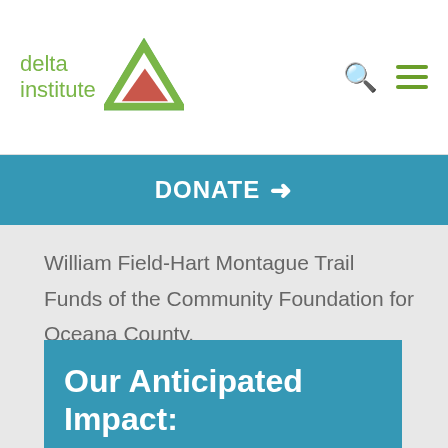[Figure (logo): Delta Institute logo with green triangle and text]
DONATE →
William Field-Hart Montague Trail Funds of the Community Foundation for Oceana County.
Our Anticipated Impact:
700 Stormwater Trees planted on public trails